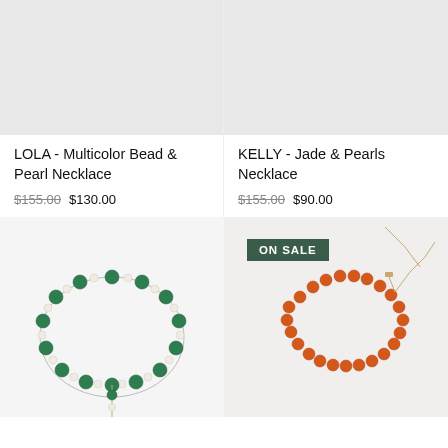[Figure (photo): Light gray placeholder image for LOLA necklace product]
[Figure (photo): Light gray placeholder image for KELLY necklace product]
LOLA - Multicolor Bead & Pearl Necklace
$155.00 $130.00
KELLY - Jade & Pearls Necklace
$155.00 $90.00
[Figure (photo): Green jade and pearl necklace photo on white background]
[Figure (photo): Orange bead necklace photo on white background, with ON SALE badge]